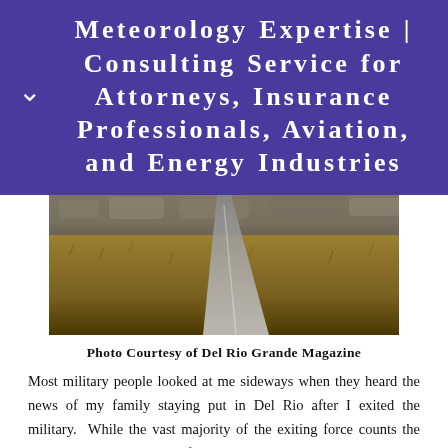Meteorology Expertise | Consulting Service for Attorneys, Insurance Professionals, Aviation, and Energy Industries
[Figure (photo): Outdoor landscape photo showing a road or fence post through dry grassy terrain with rocky hillside in the background.]
Photo Courtesy of Del Rio Grande Magazine
Most military people looked at me sideways when they heard the news of my family staying put in Del Rio after I exited the military. While the vast majority of the exiting force counts the days til they see this part of Texas in the rear-view mirror en-route to larger cities, higher-